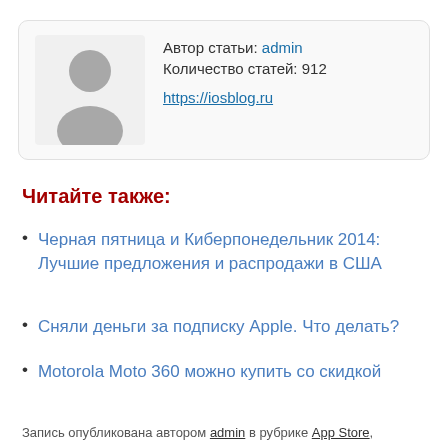[Figure (illustration): Generic user avatar silhouette icon — gray person shape on light gray background, rounded rectangle card with author info]
Автор статьи: admin
Количество статей: 912
https://iosblog.ru
Читайте также:
Черная пятница и Киберпонедельник 2014: Лучшие предложения и распродажи в США
Сняли деньги за подписку Apple. Что делать?
Motorola Moto 360 можно купить со скидкой
Запись опубликована автором admin в рубрике App Store,